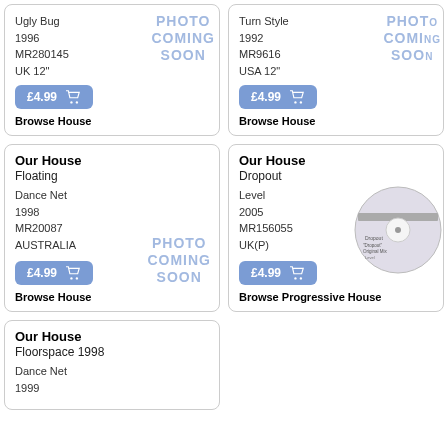Ugly Bug
1996
MR280145
UK 12"
£4.99
Browse House
Turn Style
1992
MR9616
USA 12"
£4.99
Browse House
Our House
Floating
Dance Net
1998
MR20087
AUSTRALIA
£4.99
Browse House
Our House
Dropout
Level
2005
MR156055
UK(P)
£4.99
Browse Progressive House
Our House
Floorspace 1998
Dance Net
1999